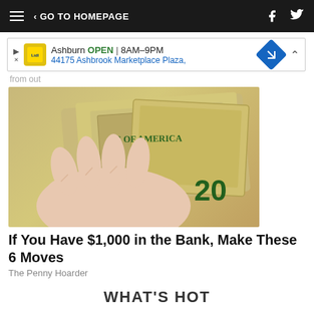GO TO HOMEPAGE
[Figure (screenshot): Advertisement banner for Lidl grocery store in Ashburn, showing OPEN 8AM-9PM and address 44175 Ashbrook Marketplace Plaza]
from out
[Figure (photo): A hand holding two US $20 dollar bills showing 'ES OF AMERICA' text on the bills]
If You Have $1,000 in the Bank, Make These 6 Moves
The Penny Hoarder
WHAT'S HOT